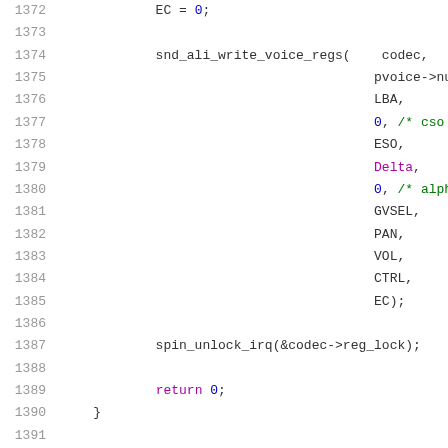Code listing lines 1372-1392 showing snd_ali_write_voice_regs function call with parameters codec, pvoice->nu, LBA, 0 /* cso, ESO, Delta, 0 /* alph, GVSEL, PAN, VOL, CTRL, EC); followed by spin_unlock_irq and return 0;